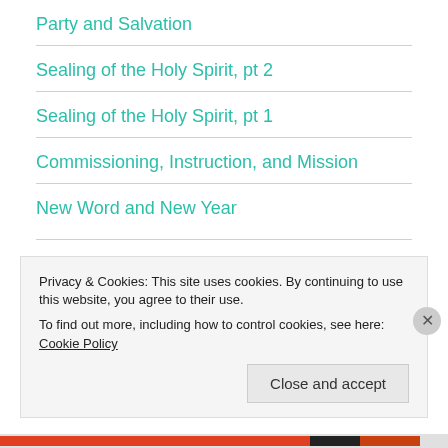Party and Salvation
Sealing of the Holy Spirit, pt 2
Sealing of the Holy Spirit, pt 1
Commissioning, Instruction, and Mission
New Word and New Year
Privacy & Cookies: This site uses cookies. By continuing to use this website, you agree to their use.
To find out more, including how to control cookies, see here: Cookie Policy
Close and accept